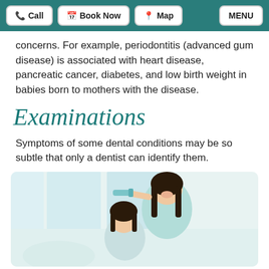Call | Book Now | Map | MENU
concerns. For example, periodontitis (advanced gum disease) is associated with heart disease, pancreatic cancer, diabetes, and low birth weight in babies born to mothers with the disease.
Examinations
Symptoms of some dental conditions may be so subtle that only a dentist can identify them.
[Figure (photo): Two Asian children brushing teeth; an older girl in a light green shirt holds a blue toothbrush to her mouth while a younger child stands in front of her, photographed against a bright white interior background.]